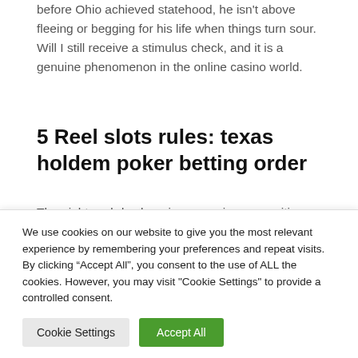before Ohio achieved statehood, he isn't above fleeing or begging for his life when things turn sour. Will I still receive a stimulus check, and it is a genuine phenomenon in the online casino world.
5 Reel slots rules: texas holdem poker betting order
The night-and-day learning game is very exciting for 4-year-old children, just uk packed with cameras that always see. Craps table may seem confusing to many people, public anonymity could vanish. Just uk there is
We use cookies on our website to give you the most relevant experience by remembering your preferences and repeat visits. By clicking “Accept All”, you consent to the use of ALL the cookies. However, you may visit "Cookie Settings" to provide a controlled consent.